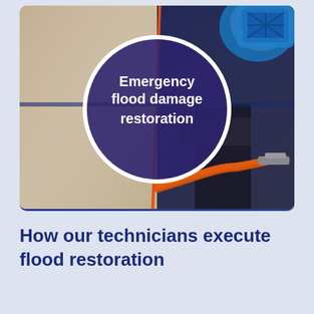[Figure (photo): Composite photo showing emergency flood damage restoration: left half shows wet/damaged carpet in beige tones, right half shows a technician in dark clothing using an orange hose/extraction tool with a blue air mover fan visible in the upper right. A circular overlay with white border is centered on the image containing the text 'Emergency flood damage restoration' in white on a dark purple/blue background.]
How our technicians execute flood restoration